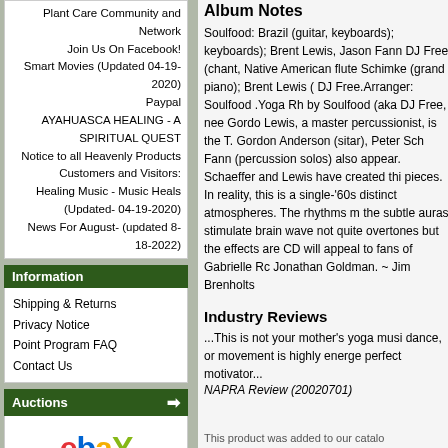Plant Care Community and Network
Join Us On Facebook!
Smart Movies (Updated 04-19-2020)
Paypal
AYAHUASCA HEALING - A SPIRITUAL QUEST
Notice to all Heavenly Products Customers and Visitors:
Healing Music - Music Heals (Updated- 04-19-2020)
News For August- (updated 8-18-2022)
Information
Shipping & Returns
Privacy Notice
Point Program FAQ
Contact Us
Auctions
[Figure (logo): eBay logo in red, blue, yellow, and green]
Album Notes
Soulfood: Brazil (guitar, keyboards); keyboards); Brent Lewis, Jason Fann DJ Free (chant, Native American flute Schimke (grand piano); Brent Lewis ( DJ Free.Arranger: Soulfood .Yoga Rh by Soulfood (aka DJ Free, nee Gordo Lewis, a master percussionist, is the T. Gordon Anderson (sitar), Peter Sch Fann (percussion solos) also appear. Schaeffer and Lewis have created thi pieces. In reality, this is a single-'60s distinct atmospheres. The rhythms m the subtle auras stimulate brain wave not quite overtones but the effects are CD will appeal to fans of Gabrielle Rc Jonathan Goldman. ~ Jim Brenholts
Industry Reviews
...This is not your mother's yoga musi dance, or movement is highly energe perfect motivator...
NAPRA Review (20020701)
This product was added to our catalo